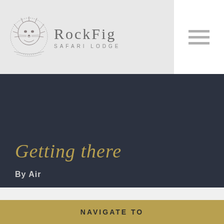[Figure (logo): RockFig Safari Lodge logo with lion emblem on left and brand name text on right]
Getting there
By Air
We use cookies on our website to give you the most relevant experience by remembering your preferences and repeat visits. By clicking “Accept”, you consent to the use of ALL the cookies. However you may visit Cookie Settings to provide a controlled consent. Read More
NAVIGATE TO